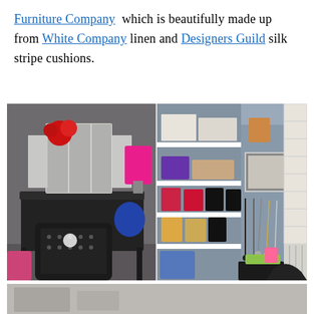Furniture Company which is beautifully made up from White Company linen and Designers Guild silk stripe cushions.
[Figure (photo): Two side-by-side interior photos of a bedroom/dressing room. Left photo shows a dark vanity desk with an ornate black-and-white patterned chair, a tri-fold mirror, a pink lamp, red floral decoration, and various accessories on the desk. Right photo shows a closet wall with white shelving units holding shoe boxes and shoes, necklaces hanging on the wall, a framed picture, white plantation shutters, and a white radiator.]
[Figure (photo): Partial view of another interior room photo at the bottom of the page, mostly cropped.]